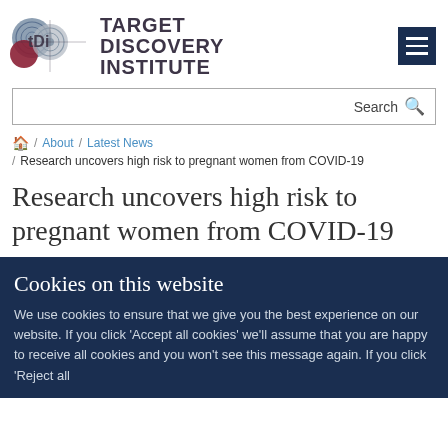[Figure (logo): Target Discovery Institute (TDI) logo with overlapping circles graphic and institute name text]
Search
🏠 / About / Latest News / Research uncovers high risk to pregnant women from COVID-19
Research uncovers high risk to pregnant women from COVID-19
Cookies on this website
We use cookies to ensure that we give you the best experience on our website. If you click 'Accept all cookies' we'll assume that you are happy to receive all cookies and you won't see this message again. If you click 'Reject all